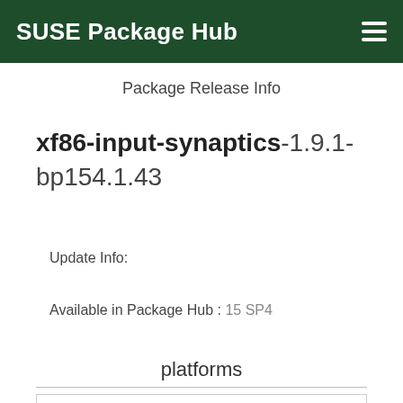SUSE Package Hub
Package Release Info
xf86-input-synaptics-1.9.1-bp154.1.43
Update Info:
Available in Package Hub : 15 SP4
platforms
| Platform | Available |
| --- | --- |
| AArch64 | ✓ |
| 64b... | ✓ |